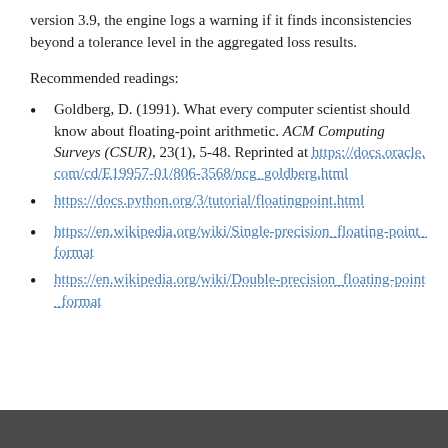version 3.9, the engine logs a warning if it finds inconsistencies beyond a tolerance level in the aggregated loss results.
Recommended readings:
Goldberg, D. (1991). What every computer scientist should know about floating-point arithmetic. ACM Computing Surveys (CSUR), 23(1), 5-48. Reprinted at https://docs.oracle.com/cd/E19957-01/806-3568/ncg_goldberg.html
https://docs.python.org/3/tutorial/floatingpoint.html
https://en.wikipedia.org/wiki/Single-precision_floating-point_format
https://en.wikipedia.org/wiki/Double-precision_floating-point_format